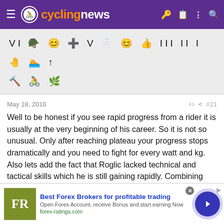cyclingnews
[Figure (screenshot): Emoji/reaction icon toolbar row with various icons including VI, helmet, emoji faces, thumbs up, Roman numerals, hand, bicycle, wrench, and leaf icons]
May 18, 2016	#21
Well to be honest if you see rapid progress from a rider it is usually at the very beginning of his career. So it is not so unusual. Only after reaching plateau your progress stops dramatically and you need to fight for every watt and kg. Also lets add the fact that Roglic lacked technical and tactical skills which he is still gaining rapidly. Combining those Primoz had and still has big room for progress which may look 'not normal'.
thehog
[Figure (screenshot): Advertisement banner: Best Forex Brokers for profitable trading. Open Forex Account, receive Bonus and start earning Now. forex-ratings.com]